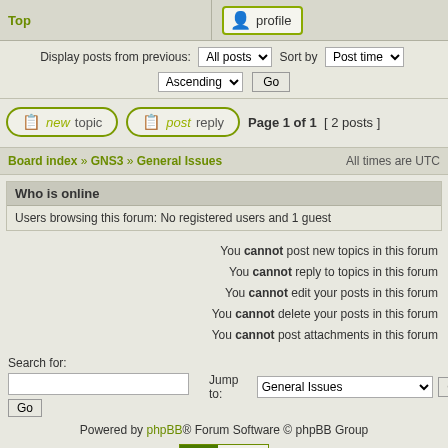Top
profile
Display posts from previous: All posts  Sort by Post time   Ascending   Go
new topic  post reply  Page 1 of 1  [ 2 posts ]
Board index » GNS3 » General Issues   All times are UTC
Who is online
Users browsing this forum: No registered users and 1 guest
You cannot post new topics in this forum
You cannot reply to topics in this forum
You cannot edit your posts in this forum
You cannot delete your posts in this forum
You cannot post attachments in this forum
Search for:
Jump to: General Issues  Go
Go
Powered by phpBB® Forum Software © phpBB Group
[Figure (logo): PHPBB SEO.COM badge logo]